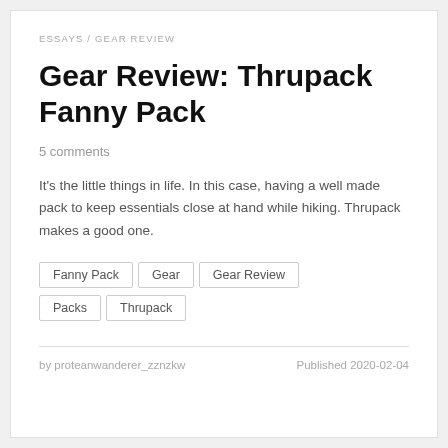ESSAYS / GEAR REVIEW
Gear Review: Thrupack Fanny Pack
5 comments
It's the little things in life. In this case, having a well made pack to keep essentials close at hand while hiking. Thrupack makes a good one.
Fanny Pack
Gear
Gear Review
Packs
Thrupack
by proteanwanderer_zznzkw   Published 2020-02-04